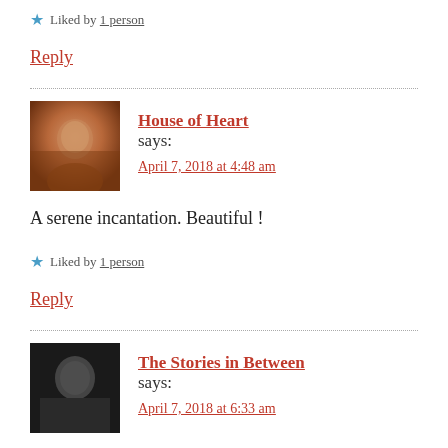★ Liked by 1 person
Reply
House of Heart says:
April 7, 2018 at 4:48 am
A serene incantation. Beautiful !
★ Liked by 1 person
Reply
The Stories in Between says:
April 7, 2018 at 6:33 am